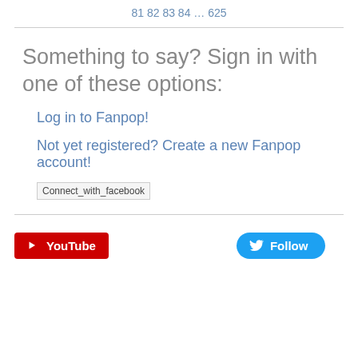81  82  83  84  …  625
Something to say? Sign in with one of these options:
Log in to Fanpop!
Not yet registered? Create a new Fanpop account!
[Figure (other): Connect_with_facebook button image placeholder]
[Figure (other): YouTube subscribe button and Twitter Follow button]